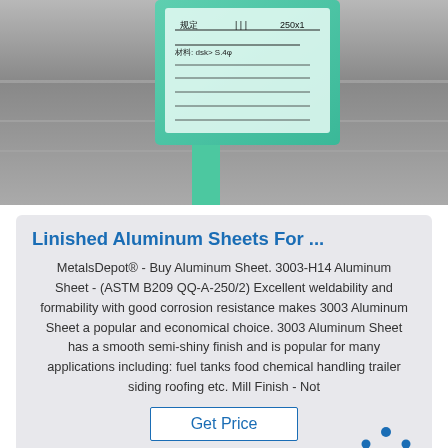[Figure (photo): Photo of aluminum sheets with a green label/tag attached, showing handwritten specifications on a teal/green colored tag holder on a metallic surface]
Linished Aluminum Sheets For ...
MetalsDepot® - Buy Aluminum Sheet. 3003-H14 Aluminum Sheet - (ASTM B209 QQ-A-250/2) Excellent weldability and formability with good corrosion resistance makes 3003 Aluminum Sheet a popular and economical choice. 3003 Aluminum Sheet has a smooth semi-shiny finish and is popular for many applications including: fuel tanks food chemical handling trailer siding roofing etc. Mill Finish - Not
[Figure (logo): TOP badge logo with blue dots arranged in an arc above the text TOP with a gold/orange O letter]